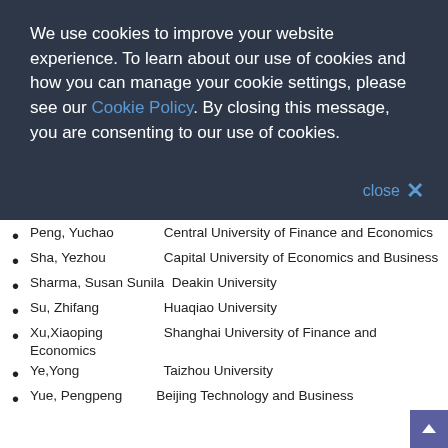We use cookies to improve your website experience. To learn about our use of cookies and how you can manage your cookie settings, please see our Cookie Policy. By closing this message, you are consenting to our use of cookies.
Peng, Yuchao    Central University of Finance and Economics
Sha, Yezhou    Capital University of Economics and Business
Sharma, Susan Sunila    Deakin University
Su, Zhifang    Huaqiao University
Xu,Xiaoping    Shanghai University of Finance and Economics
Ye,Yong    Taizhou University
Yue, Pengpeng    Beijing Technology and Business University